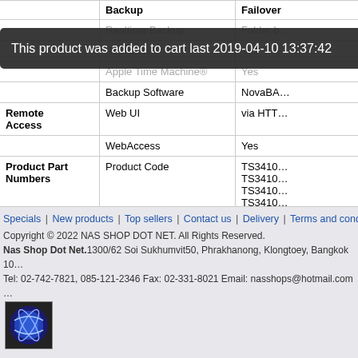|  | Backup | Failover | Failover |
| --- | --- | --- | --- |
|  | Realtime Backup | Folder b… |
|  | Replication | Yes |
|  | Apple Time Machine® | Yes |
|  | Backup Software | NovaBACKUP… |
| Remote Access | Web UI | via HTT… |
|  | WebAccess | Yes |
| Product Part Numbers | Product Code | TS3410… TS3410… TS3410… TS3410… |
This product was added to cart last 2019-04-10 13:37:42
Specials | New products | Top sellers | Contact us | Delivery | Terms and conditions o…
Copyright © 2022 NAS SHOP DOT NET. All Rights Reserved.
Nas Shop Dot Net.1300/62 Soi Sukhumvit50, Phrakhanong, Klongtoey, Bangkok 10…
Tel: 02-742-7821, 085-121-2346 Fax: 02-331-8021 Email: nasshops@hotmail.com …